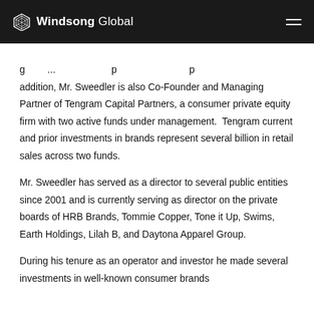Windsong Global
addition, Mr. Sweedler is also Co-Founder and Managing Partner of Tengram Capital Partners, a consumer private equity firm with two active funds under management.  Tengram current and prior investments in brands represent several billion in retail sales across two funds.
Mr. Sweedler has served as a director to several public entities since 2001 and is currently serving as director on the private boards of HRB Brands, Tommie Copper, Tone it Up, Swims, Earth Holdings, Lilah B, and Daytona Apparel Group.
During his tenure as an operator and investor he made several  investments in well-known consumer brands